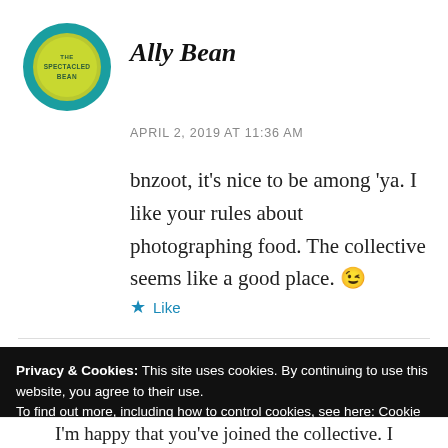[Figure (logo): Circular logo with teal border and yellow-green center reading 'THE SPECTACLED BEAN' in dark text]
Ally Bean
APRIL 2, 2019 AT 11:36 AM
bnzoot, it's nice to be among 'ya. I like your rules about photographing food. The collective seems like a good place. 😉
★ Like
Privacy & Cookies: This site uses cookies. By continuing to use this website, you agree to their use.
To find out more, including how to control cookies, see here: Cookie Policy
Close and accept
I'm happy that you've joined the collective. I